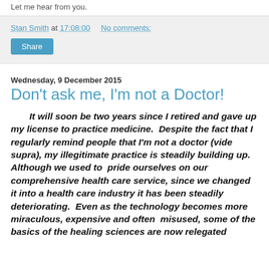Let me hear from you.
Stan Smith at 17:08:00   No comments:
Share
Wednesday, 9 December 2015
Don't ask me, I'm not a Doctor!
It will soon be two years since I retired and gave up my license to practice medicine.  Despite the fact that I regularly remind people that I'm not a doctor (vide supra), my illegitimate practice is steadily building up.  Although we used to  pride ourselves on our comprehensive health care service, since we changed it into a health care industry it has been steadily deteriorating.  Even as the technology becomes more miraculous, expensive and often  misused, some of the basics of the healing sciences are now relegated